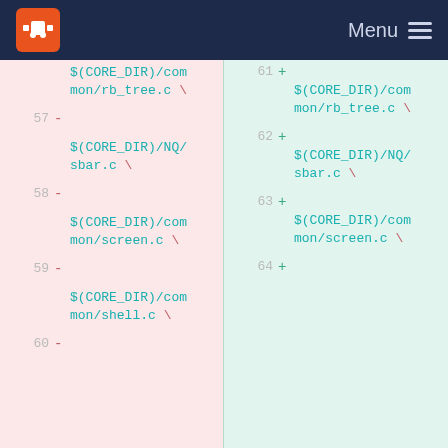Menu
[Figure (screenshot): Code diff view showing additions and removals of Makefile source lines. Left panel (pink) shows removed lines 57-60 with minus signs; right panel (green) shows added lines 61-64 with plus signs. Content includes $(CORE_DIR)/common/rb_tree.c, $(CORE_DIR)/NQ/sbar.c, $(CORE_DIR)/common/screen.c, $(CORE_DIR)/common/shell.c entries.]